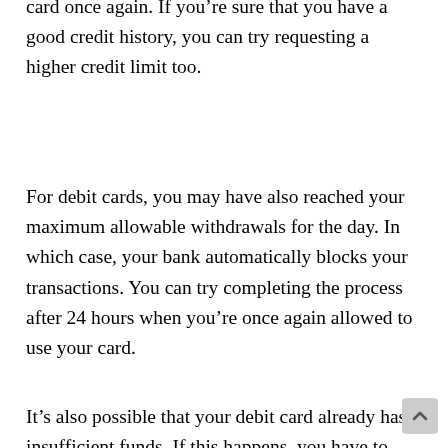card once again. If you're sure that you have a good credit history, you can try requesting a higher credit limit too.
For debit cards, you may have also reached your maximum allowable withdrawals for the day. In which case, your bank automatically blocks your transactions. You can try completing the process after 24 hours when you're once again allowed to use your card.
It's also possible that your debit card already has insufficient funds. If this happens, you have to deposit funds in your account to use